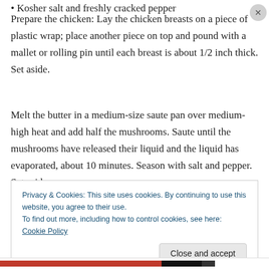Kosher salt and freshly cracked pepper
Prepare the chicken: Lay the chicken breasts on a piece of plastic wrap; place another piece on top and pound with a mallet or rolling pin until each breast is about 1/2 inch thick. Set aside.
Melt the butter in a medium-size saute pan over medium-high heat and add half the mushrooms. Saute until the mushrooms have released their liquid and the liquid has evaporated, about 10 minutes. Season with salt and pepper. Set aside.
Privacy & Cookies: This site uses cookies. By continuing to use this website, you agree to their use.
To find out more, including how to control cookies, see here: Cookie Policy
Close and accept